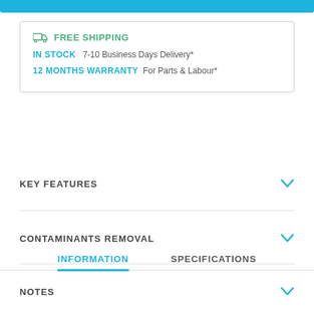FREE SHIPPING
IN STOCK  7-10 Business Days Delivery*
12 MONTHS WARRANTY  For Parts & Labour*
INFORMATION
SPECIFICATIONS
KEY FEATURES
CONTAMINANTS REMOVAL
NOTES